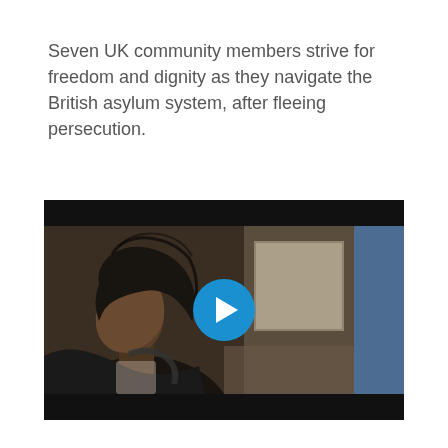Seven UK community members strive for freedom and dignity as they navigate the British asylum system, after fleeing persecution.
[Figure (photo): Video thumbnail showing a Black woman with braided hair wrapped in a dark headscarf, seated in profile view looking left, appears to be on public transport. A blue play button is overlaid in the center of the image. The image has black cinematic bars top and bottom.]